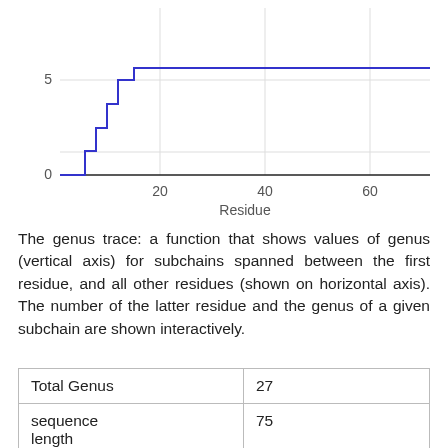[Figure (continuous-plot): A step-like line chart showing genus trace values (vertical axis, 0 to 5+) for subchains spanned between the first residue and all other residues (horizontal axis, 0 to ~70). The blue staircase line rises steeply from ~residue 5 to ~residue 20 reaching ~6, then remains flat.]
The genus trace: a function that shows values of genus (vertical axis) for subchains spanned between the first residue, and all other residues (shown on horizontal axis). The number of the latter residue and the genus of a given subchain are shown interactively.
| Total Genus | 27 |
| sequence length | 75 |